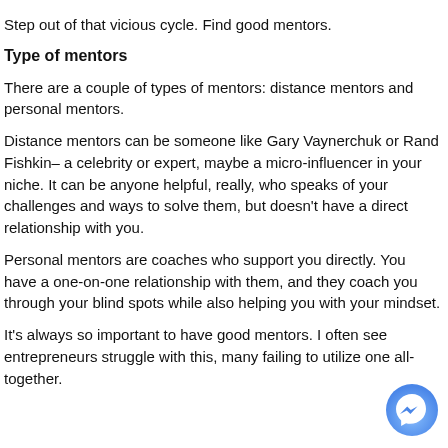Step out of that vicious cycle. Find good mentors.
Type of mentors
There are a couple of types of mentors: distance mentors and personal mentors.
Distance mentors can be someone like Gary Vaynerchuk or Rand Fishkin– a celebrity or expert, maybe a micro-influencer in your niche. It can be anyone helpful, really, who speaks of your challenges and ways to solve them, but doesn't have a direct relationship with you.
Personal mentors are coaches who support you directly. You have a one-on-one relationship with them, and they coach you through your blind spots while also helping you with your mindset.
It's always so important to have good mentors. I often see entrepreneurs struggle with this, many failing to utilize one all-together.
[Figure (logo): Facebook Messenger chat button icon, circular blue gradient button with white lightning bolt/messenger symbol]